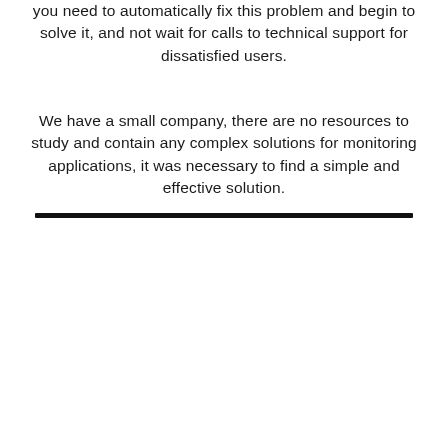you need to automatically fix this problem and begin to solve it, and not wait for calls to technical support for dissatisfied users.
We have a small company, there are no resources to study and contain any complex solutions for monitoring applications, it was necessary to find a simple and effective solution.